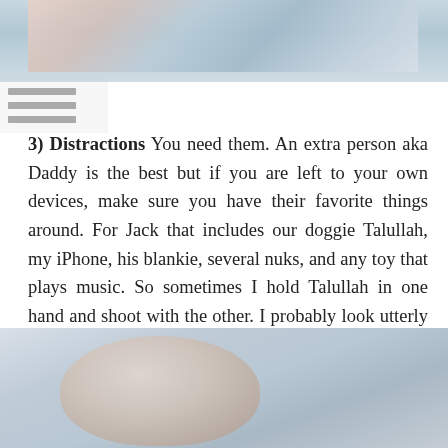[Figure (photo): Top portion of a photo strip visible at the top of the page, partially cropped]
[Figure (illustration): Hamburger/menu icon graphic on the left side]
3) Distractions You need them. An extra person aka Daddy is the best but if you are left to your own devices, make sure you have their favorite things around. For Jack that includes our doggie Talullah, my iPhone, his blankie, several nuks, and any toy that plays music. So sometimes I hold Talullah in one hand and shoot with the other. I probably look utterly ridiculous and it's actually quite hard to balance the camera, but if I get the shot, then that's what matters! And honestly who cares if they have a "prop" in the photo. If their smiling face is in the photo, no one will notice the remote/tape roll/sippy cup anyway.
[Figure (photo): Bottom portion showing a baby/child's face, partially cropped at the bottom of the page]